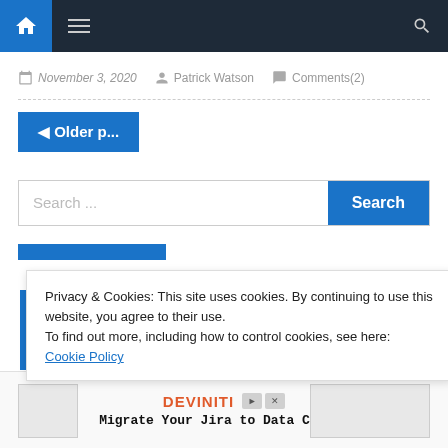Navigation bar with home icon, hamburger menu, and search icon
November 3, 2020   Patrick Watson   Comments(2)
◄ Older p...
Search ...
Privacy & Cookies: This site uses cookies. By continuing to use this website, you agree to their use.
To find out more, including how to control cookies, see here:
Cookie Policy
[Figure (screenshot): Deviniti advertisement banner: Migrate Your Jira to Data Center]